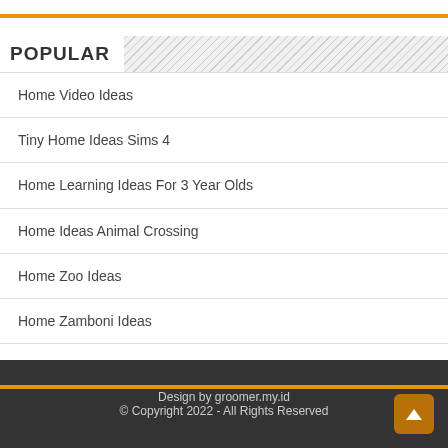POPULAR
Home Video Ideas
Tiny Home Ideas Sims 4
Home Learning Ideas For 3 Year Olds
Home Ideas Animal Crossing
Home Zoo Ideas
Home Zamboni Ideas
Home Party Ideas For 8 Year Olds
Design by groomer.my.id
© Copyright 2022 - All Rights Reserved